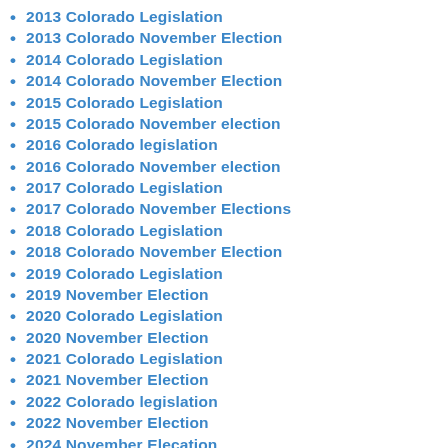2013 Colorado Legislation
2013 Colorado November Election
2014 Colorado Legislation
2014 Colorado November Election
2015 Colorado Legislation
2015 Colorado November election
2016 Colorado legislation
2016 Colorado November election
2017 Colorado Legislation
2017 Colorado November Elections
2018 Colorado Legislation
2018 Colorado November Election
2019 Colorado Legislation
2019 November Election
2020 Colorado Legislation
2020 November Election
2021 Colorado Legislation
2021 November Election
2022 Colorado legislation
2022 November Election
2024 November Elecation
2026 Guidelines
51st State Initiative (North Colorado Secession)
Acequias
Alamosa